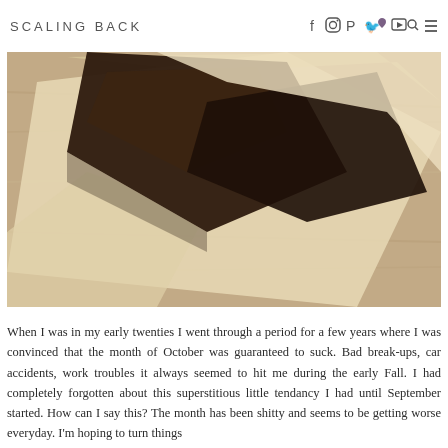SCALING BACK
[Figure (photo): Close-up photo of dark chocolate brownies wrapped in parchment paper on a wooden surface]
When I was in my early twenties I went through a period for a few years where I was convinced that the month of October was guaranteed to suck.  Bad break-ups, car accidents, work troubles it always seemed to hit me during the early Fall.  I had completely forgotten about this superstitious little tendancy I had until September started.  How can I say this?  The month has been shitty and seems to be getting worse everyday.  I'm hoping to turn things